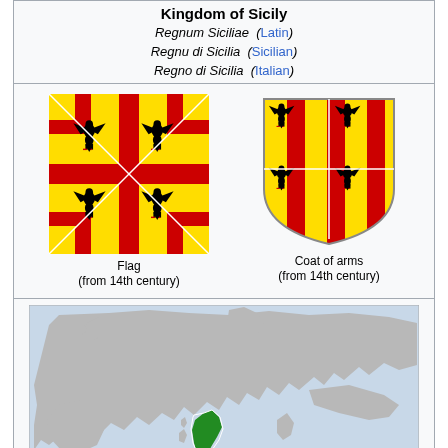Kingdom of Sicily
Regnum Siciliae (Latin)
Regnu di Sicilia (Sicilian)
Regno di Sicilia (Italian)
[Figure (illustration): Flag of the Kingdom of Sicily – quartered yellow and red stripes with black eagles, diagonal cross pattern]
Flag
(from 14th century)
[Figure (illustration): Coat of arms of the Kingdom of Sicily – shield shape with quartered yellow and red stripes and black eagles]
Coat of arms
(from 14th century)
[Figure (map): Map of Europe with the Kingdom of Sicily highlighted in green, showing southern Italy and Sicily, circa 1190]
The Kingdom of Sicily in 1190.